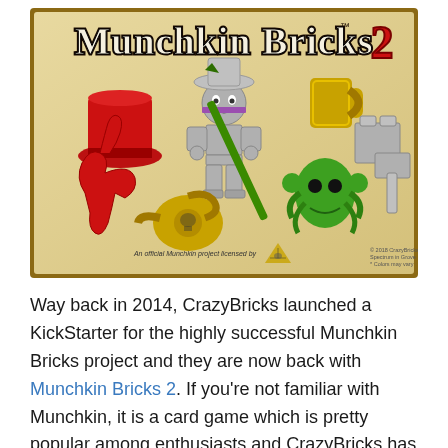[Figure (illustration): Promotional image for Munchkin Bricks 2 showing a LEGO-style minifigure with various accessories: red top hat, gold tankard, grey block, green alien bust, grey hammer, red foam finger, gold watering can with skull, and a green staff/spear. Title reads 'Munchkin Bricks 2' in large stylized letters. Bottom text: 'An official Munchkin project licensed by' with a pyramid logo, and '© 2018 CrazyBricks, Spectrum in Grove Inc., * Colors may vary']
Way back in 2014, CrazyBricks launched a KickStarter for the highly successful Munchkin Bricks project and they are now back with Munchkin Bricks 2. If you're not familiar with Munchkin, it is a card game which is pretty popular among enthusiasts and CrazyBricks has made some accessory pieces from the game. Some of these